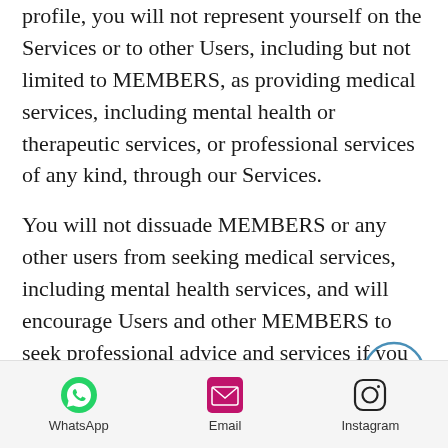…claimed or listed on your platform profile, you will not represent yourself on the Services or to other Users, including but not limited to MEMBERS, as providing medical services, including mental health or therapeutic services, or professional services of any kind, through our Services.
You will not dissuade MEMBERS or any other users from seeking medical services, including mental health services, and will encourage Users and other MEMBERS to seek professional advice and services if you are concerned about their well-being.
WhatsApp | Email | Instagram